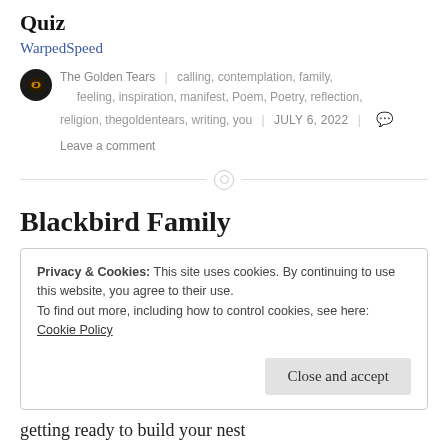Quiz
WarpedSpeed
The Golden Tears | calling, contemplation, family, feeling, inspiration, manifest, Poem, Poetry, reflection, religion, thegoldentears, writing, you | JULY 6, 2022 | Leave a comment
Blackbird Family
Privacy & Cookies: This site uses cookies. By continuing to use this website, you agree to their use.
To find out more, including how to control cookies, see here:
Cookie Policy
Close and accept
getting ready to build your nest